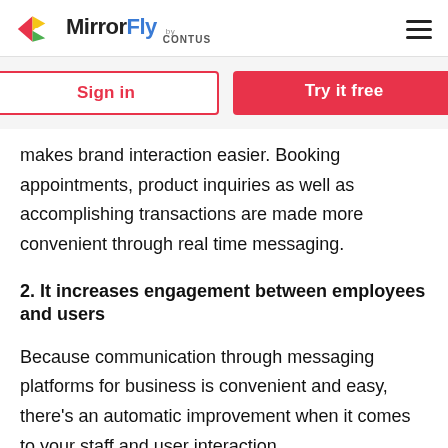[Figure (logo): MirrorFly by CONTUS logo with colorful icon on the left and hamburger menu on the right]
[Figure (other): Sign in and Try it free buttons on a light gray background]
makes brand interaction easier. Booking appointments, product inquiries as well as accomplishing transactions are made more convenient through real time messaging.
2. It increases engagement between employees and users
Because communication through messaging platforms for business is convenient and easy, there’s an automatic improvement when it comes to your staff and user interaction.